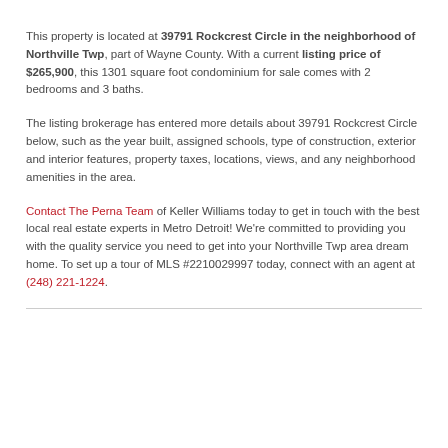This property is located at 39791 Rockcrest Circle in the neighborhood of Northville Twp, part of Wayne County. With a current listing price of $265,900, this 1301 square foot condominium for sale comes with 2 bedrooms and 3 baths.
The listing brokerage has entered more details about 39791 Rockcrest Circle below, such as the year built, assigned schools, type of construction, exterior and interior features, property taxes, locations, views, and any neighborhood amenities in the area.
Contact The Perna Team of Keller Williams today to get in touch with the best local real estate experts in Metro Detroit! We're committed to providing you with the quality service you need to get into your Northville Twp area dream home. To set up a tour of MLS #2210029997 today, connect with an agent at (248) 221-1224.